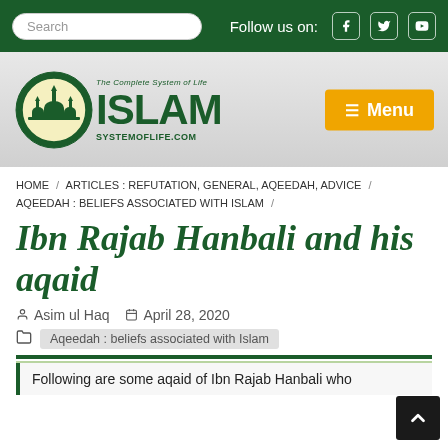Search | Follow us on: [Facebook] [Twitter] [YouTube]
[Figure (logo): Islam System of Life logo with mosque illustration and text 'ISLAM SYSTEMOFLIFE.COM' with tagline 'The Complete System of Life']
HOME / ARTICLES : REFUTATION, GENERAL, AQEEDAH, ADVICE / AQEEDAH : BELIEFS ASSOCIATED WITH ISLAM /
Ibn Rajab Hanbali and his aqaid
Asim ul Haq   April 28, 2020
Aqeedah : beliefs associated with Islam
Following are some aqaid of Ibn Rajab Hanbali who